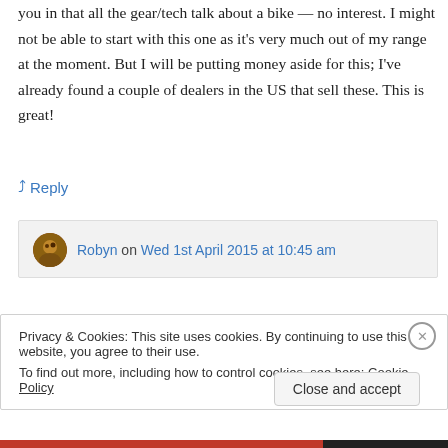you in that all the gear/tech talk about a bike — no interest. I might not be able to start with this one as it's very much out of my range at the moment. But I will be putting money aside for this; I've already found a couple of dealers in the US that sell these. This is great!
↪ Reply
Robyn on Wed 1st April 2015 at 10:45 am
Privacy & Cookies: This site uses cookies. By continuing to use this website, you agree to their use.
To find out more, including how to control cookies, see here: Cookie Policy
Close and accept